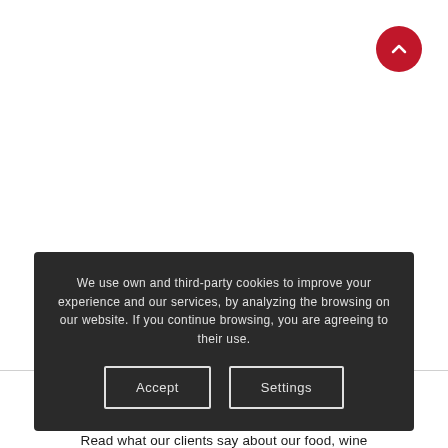[Figure (other): Red circular scroll-to-top button with upward chevron arrow, positioned in top-right corner]
We use own and third-party cookies to improve your experience and our services, by analyzing the browsing on our website. If you continue browsing, you are agreeing to their use.
Accept
Settings
Read what our clients say about our food, wine